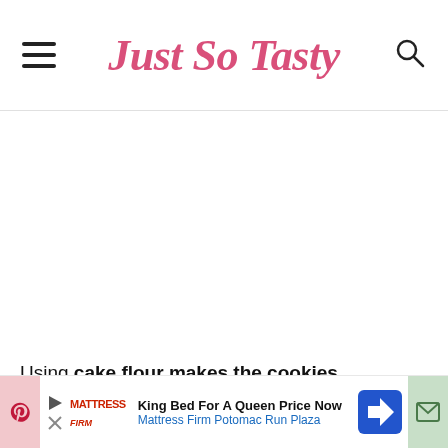Just So Tasty
Using cake flour makes the cookies incredibly tender with a more delicate crumb. Then the cornstarch
[Figure (screenshot): Advertisement bar: Mattress Firm - King Bed For A Queen Price Now, Mattress Firm Potomac Run Plaza]